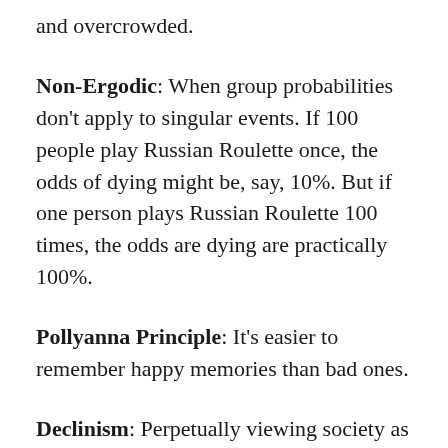and overcrowded.
Non-Ergodic: When group probabilities don't apply to singular events. If 100 people play Russian Roulette once, the odds of dying might be, say, 10%. But if one person plays Russian Roulette 100 times, the odds are dying are practically 100%.
Pollyanna Principle: It's easier to remember happy memories than bad ones.
Declinism: Perpetually viewing society as in decline, because you're afflicted by the Pollyanna Principle and you forget how much things sucked in the past.